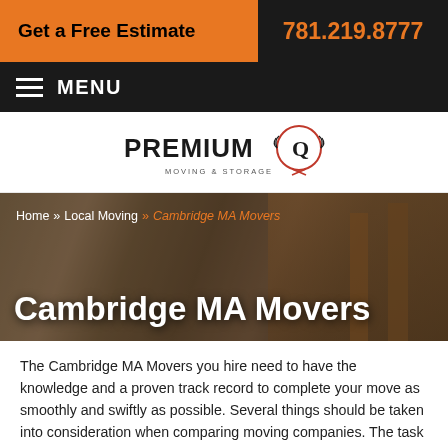Get a Free Estimate | 781.219.8777
MENU
[Figure (logo): Premium Q Moving & Storage logo with laurel wreath emblem]
[Figure (photo): Movers carrying items on stairs of a house]
Cambridge MA Movers
The Cambridge MA Movers you hire need to have the knowledge and a proven track record to complete your move as smoothly and swiftly as possible. Several things should be taken into consideration when comparing moving companies. The task of finding a moving company that is dependable,